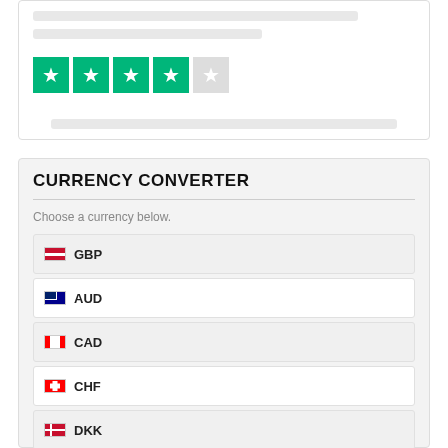[Figure (other): Trustpilot-style star rating widget showing 4 out of 5 stars (4 green filled stars, 1 grey empty star) inside a card with grey placeholder lines above.]
CURRENCY CONVERTER
Choose a currency below.
GBP
AUD
CAD
CHF
DKK
EUR
HUF
ILS
INR